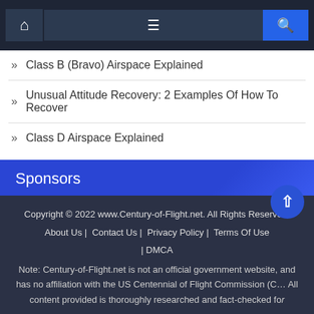Navigation bar with home, menu, and search icons
Class B (Bravo) Airspace Explained
Unusual Attitude Recovery: 2 Examples Of How To Recover
Class D Airspace Explained
Sponsors
Copyright © 2022 www.Century-of-Flight.net. All Rights Reserved. About Us | Contact Us | Privacy Policy | Terms Of Use | DMCA Note: Century-of-flight.net is not an official government website, and has no affiliation with the US Centennial of Flight Commission (C… All content provided is thoroughly researched and fact-checked for…